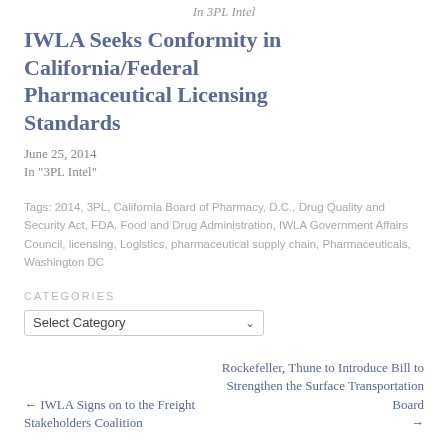In  3PL Intel
IWLA Seeks Conformity in California/Federal Pharmaceutical Licensing Standards
June 25, 2014
In "3PL Intel"
Tags: 2014, 3PL, California Board of Pharmacy, D.C., Drug Quality and Security Act, FDA, Food and Drug Administration, IWLA Government Affairs Council, licensing, Logistics, pharmaceutical supply chain, Pharmaceuticals, Washington DC
CATEGORIES
Select Category
← IWLA Signs on to the Freight Stakeholders Coalition
Rockefeller, Thune to Introduce Bill to Strengthen the Surface Transportation Board →